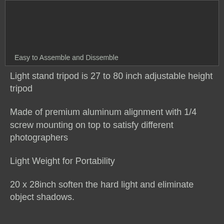[Figure (photo): Photo of light stand tripod equipment with text overlay 'Easy to Assemble and Dissemble']
Light stand tripod is 27 to 80 inch adjustable height tripod
Made of premium aluminum alignment with 1/4 screw mounting on top to satisfy different photographers
Light Weight for Portability
20 x 28inch soften the hard light and eliminate object shadows.